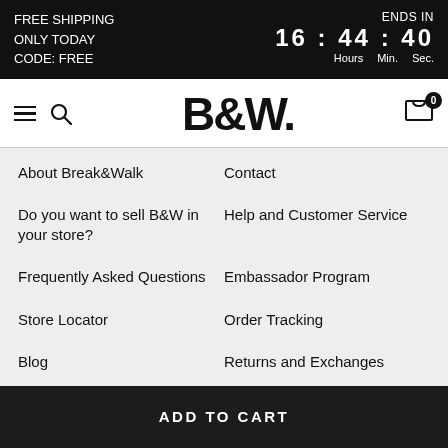FREE SHIPPING ONLY TODAY CODE: FREE | ENDS IN 16 : 44 : 40 Hours Min. Sec.
[Figure (logo): B&W (Break&Walk) logo with hamburger menu, search icon, and cart icon showing 0 items]
About Break&Walk
Contact
Do you want to sell B&W in your store?
Help and Customer Service
Frequently Asked Questions
Embassador Program
Store Locator
Order Tracking
Blog
Returns and Exchanges
Professional Access
Shipping
ADD TO CART